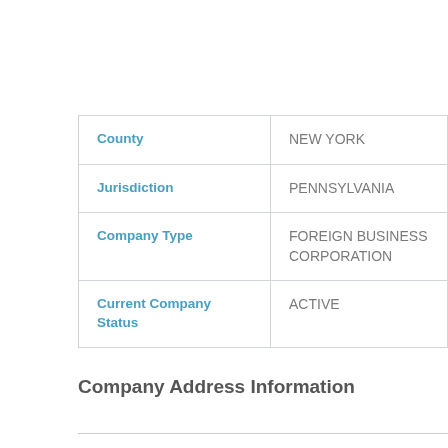| Field | Value |
| --- | --- |
| County | NEW YORK |
| Jurisdiction | PENNSYLVANIA |
| Company Type | FOREIGN BUSINESS CORPORATION |
| Current Company Status | ACTIVE |
Company Address Information